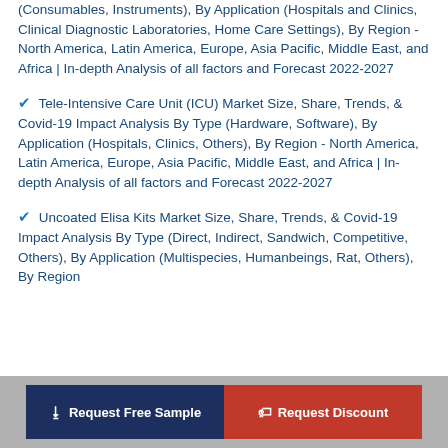(Consumables, Instruments), By Application (Hospitals and Clinics, Clinical Diagnostic Laboratories, Home Care Settings), By Region - North America, Latin America, Europe, Asia Pacific, Middle East, and Africa | In-depth Analysis of all factors and Forecast 2022-2027
Tele-Intensive Care Unit (ICU) Market Size, Share, Trends, & Covid-19 Impact Analysis By Type (Hardware, Software), By Application (Hospitals, Clinics, Others), By Region - North America, Latin America, Europe, Asia Pacific, Middle East, and Africa | In-depth Analysis of all factors and Forecast 2022-2027
Uncoated Elisa Kits Market Size, Share, Trends, & Covid-19 Impact Analysis By Type (Direct, Indirect, Sandwich, Competitive, Others), By Application (Multispecies, Humanbeings, Rat, Others), By Region
Request Free Sample | Request Discount